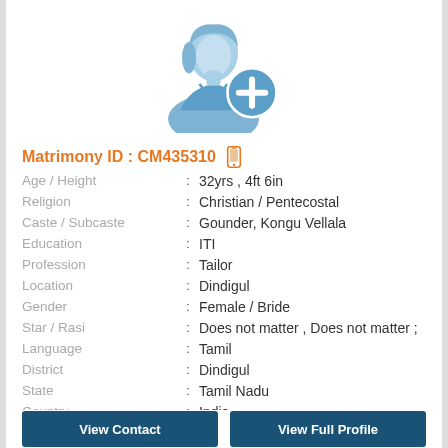[Figure (illustration): Female profile placeholder icon with a blue add/plus circle badge overlay]
Matrimony ID : CM435310
| Age / Height | : | 32yrs , 4ft 6in |
| Religion | : | Christian / Pentecostal |
| Caste / Subcaste | : | Gounder, Kongu Vellala |
| Education | : | ITI |
| Profession | : | Tailor |
| Location | : | Dindigul |
| Gender | : | Female / Bride |
| Star / Rasi | : | Does not matter , Does not matter ; |
| Language | : | Tamil |
| District | : | Dindigul |
| State | : | Tamil Nadu |
| Country | : | India |